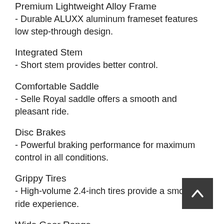Premium Lightweight Alloy Frame
- Durable ALUXX aluminum frameset features low step-through design.
Integrated Stem
- Short stem provides better control.
Comfortable Saddle
- Selle Royal saddle offers a smooth and pleasant ride.
Disc Brakes
- Powerful braking performance for maximum control in all conditions.
Grippy Tires
- High-volume 2.4-inch tires provide a smooth ride experience.
Wide Gear Range
- 8-speed drivetrain for hilly terrain